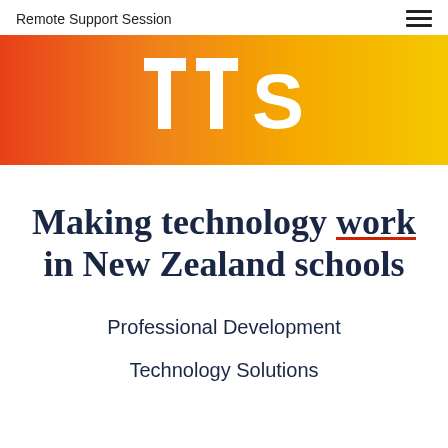Remote Support Session
[Figure (logo): TTS logo in white text on orange-to-yellow gradient banner background]
Making technology work in New Zealand schools
Professional Development
Technology Solutions